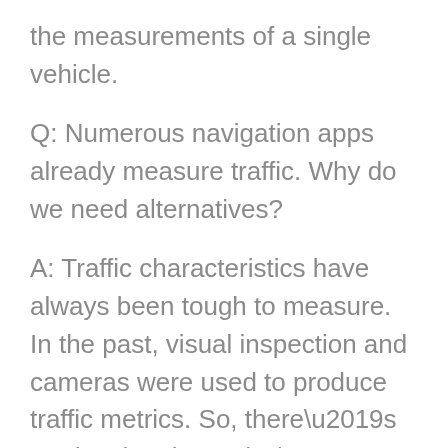the measurements of a single vehicle.
Q: Numerous navigation apps already measure traffic. Why do we need alternatives?
A: Traffic characteristics have always been tough to measure. In the past, visual inspection and cameras were used to produce traffic metrics. So, there’s no denying that today’s navigation tools apps offer a superior alternative. Yet even these modern tools have gaps.
Chief among them is their dependence on spatially distributed user counts: Essentially, these apps tally up their users on road